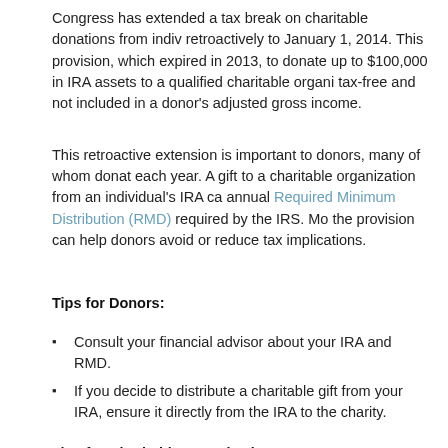Congress has extended a tax break on charitable donations from indiv retroactively to January 1, 2014. This provision, which expired in 2013, to donate up to $100,000 in IRA assets to a qualified charitable organi tax-free and not included in a donor's adjusted gross income.
This retroactive extension is important to donors, many of whom donat each year. A gift to a charitable organization from an individual's IRA ca annual Required Minimum Distribution (RMD) required by the IRS. Mo the provision can help donors avoid or reduce tax implications.
Tips for Donors:
Consult your financial advisor about your IRA and RMD.
If you decide to distribute a charitable gift from your IRA, ensure it directly from the IRA to the charity.
Tips for Charitable Organizations:
Reach out to donors who you know were waiting to see whethe